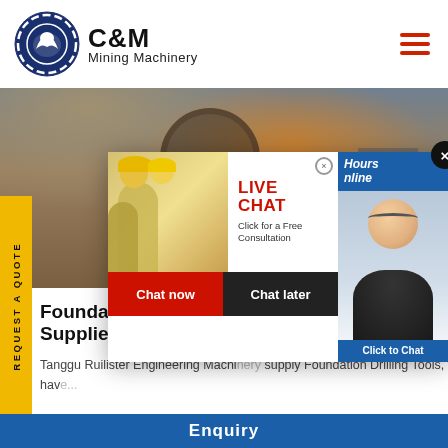[Figure (logo): C&M Mining Machinery logo with eagle/gear icon in dark blue circle on left, bold C&M text and Mining Machinery subtitle on right]
[Figure (photo): Hero banner showing mining equipment and workers in hard hats at an industrial site]
[Figure (screenshot): Live chat popup overlay with construction workers photo, LIVE CHAT heading in red, 'Click for a Free Consultation' text, Chat now and Chat later buttons, and agent photo on right with Click to Chat bar]
Foundation Drilling Tools, Teeth, Auger Bits, Supplier
Tanggu Ruilister Engineering Machinery supply Foundation Drilling Tools, wh... Teeth, Auger Bits, Our products hav...
Enquiry